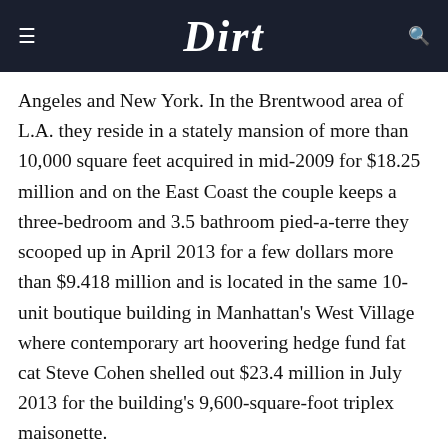Dirt
Angeles and New York. In the Brentwood area of L.A. they reside in a stately mansion of more than 10,000 square feet acquired in mid-2009 for $18.25 million and on the East Coast the couple keeps a three-bedroom and 3.5 bathroom pied-a-terre they scooped up in April 2013 for a few dollars more than $9.418 million and is located in the same 10-unit boutique building in Manhattan’s West Village where contemporary art hoovering hedge fund fat cat Steve Cohen shelled out $23.4 million in July 2013 for the building’s 9,600-square-foot triplex maisonette.